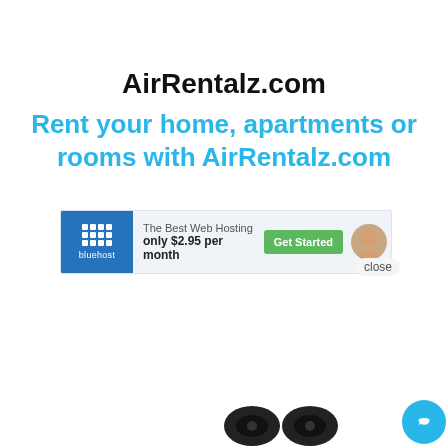AirRentalz.com
Rent your home, apartments or rooms with AirRentalz.com
[Figure (screenshot): Screenshot of a Bluehost web hosting advertisement banner showing 'The Best Web Hosting only $2.95 per month' with a green 'Get Started' button, a close button, and overlaid chat widget bubble saying 'Hi there, have a question? Text us here.' with a woman's avatar photo, plus speaker accessories and a blue chat FAB button.]